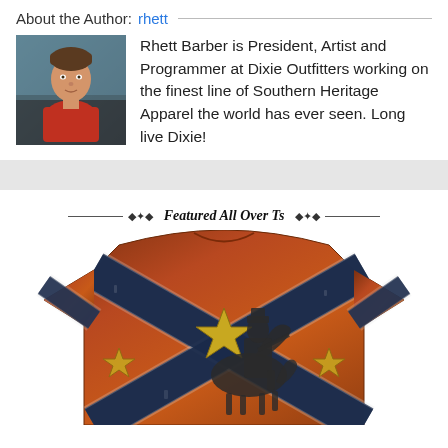About the Author: rhett
[Figure (photo): Author photo: man in red shirt in a car]
Rhett Barber is President, Artist and Programmer at Dixie Outfitters working on the finest line of Southern Heritage Apparel the world has ever seen. Long live Dixie!
Featured All Over Ts
[Figure (photo): T-shirt featuring Confederate battle flag design with Civil War soldier on horseback]